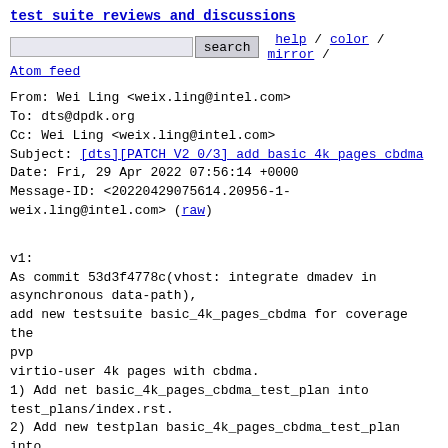test suite reviews and discussions
search  help / color / mirror /
Atom feed
From: Wei Ling <weix.ling@intel.com>
To: dts@dpdk.org
Cc: Wei Ling <weix.ling@intel.com>
Subject: [dts][PATCH V2 0/3] add basic 4k pages cbdma
Date: Fri, 29 Apr 2022 07:56:14 +0000
Message-ID: <20220429075614.20956-1-weix.ling@intel.com> (raw)
v1:
As commit 53d3f4778c(vhost: integrate dmadev in asynchronous data-path),
add new testsuite basic_4k_pages_cbdma for coverage the pvp
virtio-user 4k pages with cbdma.
1) Add net basic_4k_pages_cbdma_test_plan into test_plans/index.rst.
2) Add new testplan basic_4k_pages_cbdma_test_plan into test_plans.
3) Add new testsuite TestSuite_basic_4k_pages_cbdma.py into tests.
v2:
Modify the `Description` content in test_plan.
Wei Ling (3):